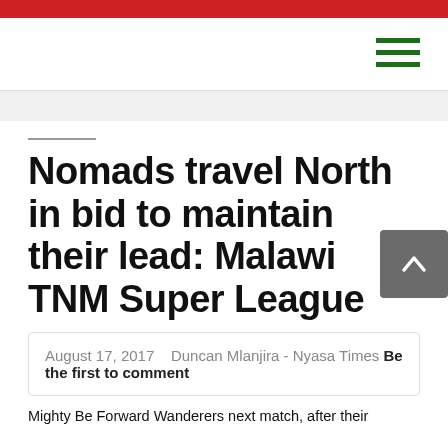Nomads travel North in bid to maintain their lead: Malawi TNM Super League
August 17, 2017   Duncan Mlanjira - Nyasa Times  Be the first to comment
Mighty Be Forward Wanderers next match, after their